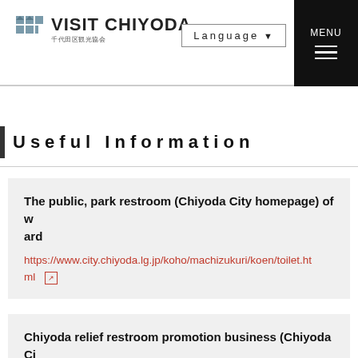VISIT CHIYODA 千代田区観光協会 | Language | MENU
Useful Information
The public, park restroom (Chiyoda City homepage) of ward
https://www.city.chiyoda.lg.jp/koho/machizukuri/koen/toilet.html
Chiyoda relief restroom promotion business (Chiyoda City homepage)
https://www.city.chiyoda.lg.jp/koho/bunka/tokyo-olympic/anshi